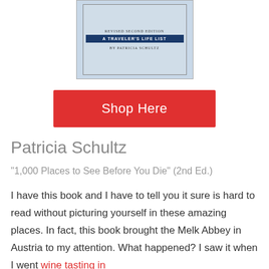[Figure (illustration): Book cover of '1,000 Places to See Before You Die' Revised Second Edition by Patricia Schultz, shown as a light blue cover with map imagery and a dark blue title bar.]
Shop Here
Patricia Schultz
“1,000 Places to See Before You Die” (2nd Ed.)
I have this book and I have to tell you it sure is hard to read without picturing yourself in these amazing places. In fact, this book brought the Melk Abbey in Austria to my attention. What happened? I saw it when I went wine tasting in